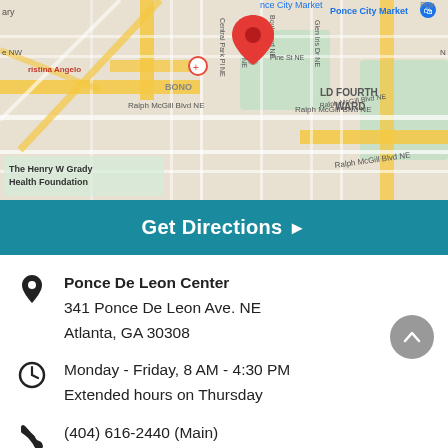[Figure (map): Google Maps screenshot showing the area around 341 Ponce De Leon Ave NE, Atlanta, GA 30308, with landmarks including Ponce City Market, LD Fourth Ward, The Henry W Grady Health Foundation, Ralph McGill Blvd NE, Central Park Pl NE, and a red location pin marker.]
Get Directions ▶
Ponce De Leon Center
341 Ponce De Leon Ave. NE
Atlanta, GA 30308
Monday - Friday, 8 AM - 4:30 PM
Extended hours on Thursday
(404) 616-2440 (Main)
(404) 616-1000 (Appointments)